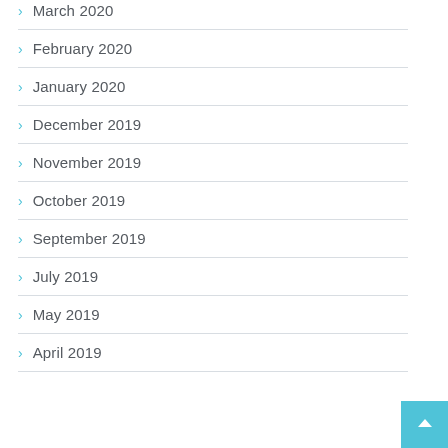March 2020
February 2020
January 2020
December 2019
November 2019
October 2019
September 2019
July 2019
May 2019
April 2019